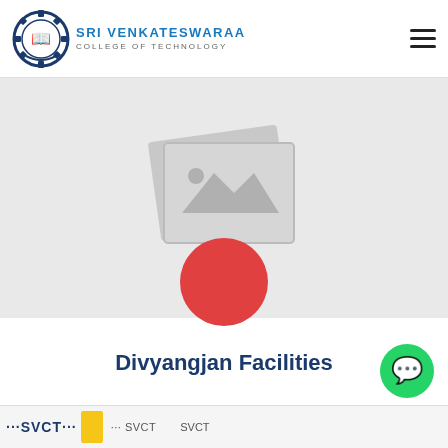SRI VENKATESWARAA COLLEGE OF TECHNOLOGY
[Figure (photo): Placeholder image with grey background and image icon, overlaid with a red circle (video play or record button)]
Divyangjan Facilities
[Figure (photo): WhatsApp contact button (green circle with phone icon)]
[Figure (photo): Bottom banner showing SVCT college branding with text and yellow/orange blocks]